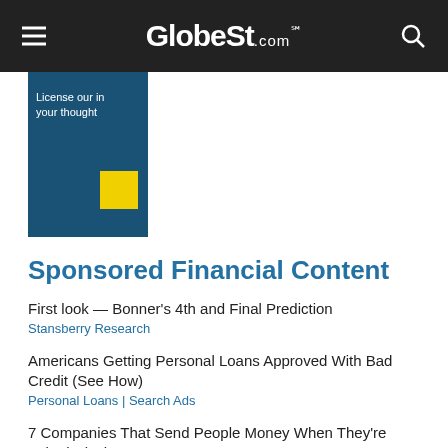GlobeSt.com
[Figure (other): Partial advertisement banner with blue background, white text 'License our in... your thought...' and a yellow rectangle accent.]
Sponsored Financial Content
First look — Bonner's 4th and Final Prediction
Stansberry Research
Americans Getting Personal Loans Approved With Bad Credit (See How)
Personal Loans | Search Ads
7 Companies That Send People Money When They're Asked Nicely
The Penny Hoarder
7 Ways to Retire Comfortably With $500k